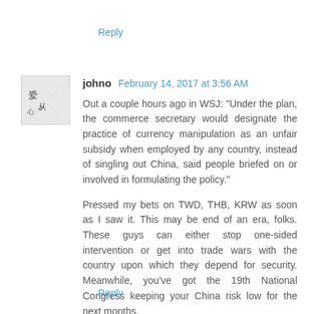Reply
johno  February 14, 2017 at 3:56 AM
Out a couple hours ago in WSJ: "Under the plan, the commerce secretary would designate the practice of currency manipulation as an unfair subsidy when employed by any country, instead of singling out China, said people briefed on or involved in formulating the policy."

Pressed my bets on TWD, THB, KRW as soon as I saw it. This may be end of an era, folks. These guys can either stop one-sided intervention or get into trade wars with the country upon which they depend for security. Meanwhile, you've got the 19th National Congress keeping your China risk low for the next months.
Reply